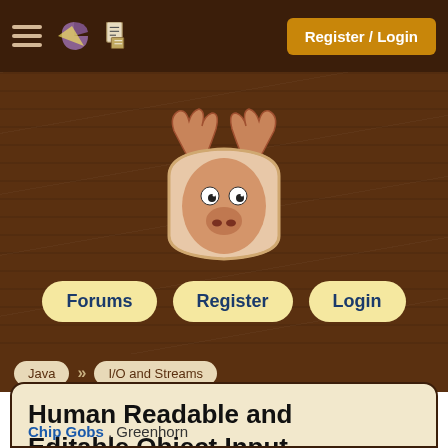Register / Login
[Figure (illustration): Moose head mascot illustration — cartoon moose face with antlers on a wood-textured background]
Forums  Register  Login
Java » I/O and Streams
Human Readable and Editable Object Input and Output Streams?
Chip Gobs , Greenhorn